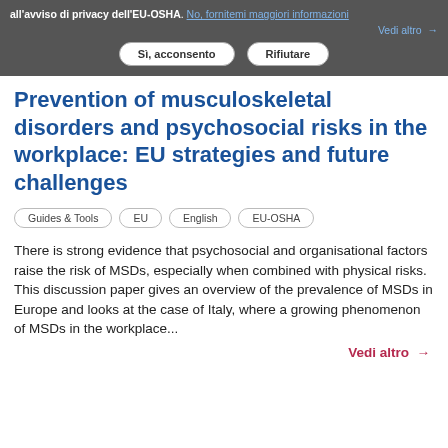all'avviso di privacy dell'EU-OSHA. No, fornitemi maggiori informazioni
Vedi altro →
Sì, acconsento   Rifiutare
Prevention of musculoskeletal disorders and psychosocial risks in the workplace: EU strategies and future challenges
Guides & Tools   EU   English   EU-OSHA
There is strong evidence that psychosocial and organisational factors raise the risk of MSDs, especially when combined with physical risks. This discussion paper gives an overview of the prevalence of MSDs in Europe and looks at the case of Italy, where a growing phenomenon of MSDs in the workplace...
Vedi altro →